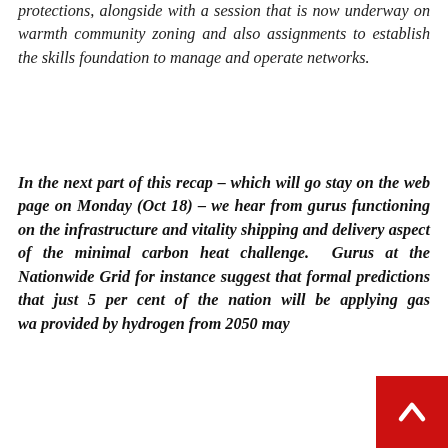protections, alongside with a session that is now underway on warmth community zoning and also assignments to establish the skills foundation to manage and operate networks.
In the next part of this recap – which will go stay on the web page on Monday (Oct 18) – we hear from gurus functioning on the infrastructure and vitality shipping and delivery aspect of the minimal carbon heat challenge. Gurus at the Nationwide Grid for instance suggest that formal predictions that just 5 per cent of the nation will be applying gas wa... provided by hydrogen from 2050 may